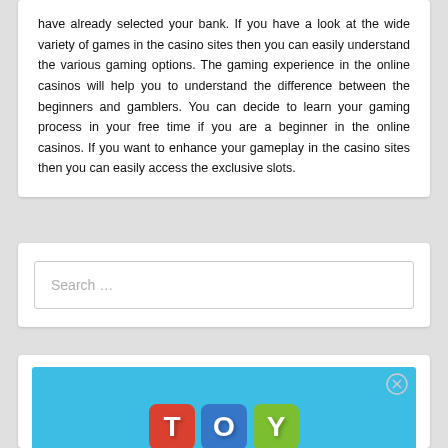have already selected your bank. If you have a look at the wide variety of games in the casino sites then you can easily understand the various gaming options. The gaming experience in the online casinos will help you to understand the difference between the beginners and gamblers. You can decide to learn your gaming process in your free time if you are a beginner in the online casinos. If you want to enhance your gameplay in the casino sites then you can easily access the exclusive slots.
Search …
[Figure (photo): Colorful toy letter blocks spelling TOY on a blue background, with a close/dismiss button (circled X) in the top right corner.]